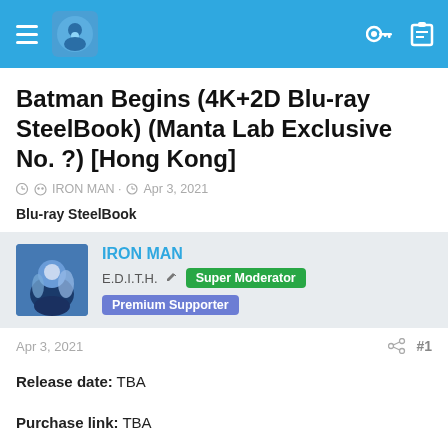Navigation bar with hamburger menu, logo, key icon, and clipboard icon
Batman Begins (4K+2D Blu-ray SteelBook) (Manta Lab Exclusive No. ?) [Hong Kong]
IRON MAN · Apr 3, 2021
Blu-ray SteelBook
IRON MAN
E.D.I.T.H. Super Moderator Premium Supporter
Apr 3, 2021 #1
Release date: TBA
Purchase link: TBA
Price: TBA